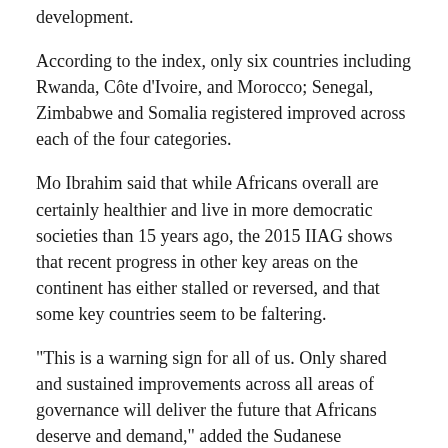development.
According to the index, only six countries including Rwanda, Côte d’Ivoire, and Morocco; Senegal, Zimbabwe and Somalia registered improved across each of the four categories.
Mo Ibrahim said that while Africans overall are certainly healthier and live in more democratic societies than 15 years ago, the 2015 IIAG shows that recent progress in other key areas on the continent has either stalled or reversed, and that some key countries seem to be faltering.
“This is a warning sign for all of us. Only shared and sustained improvements across all areas of governance will deliver the future that Africans deserve and demand,” added the Sudanese philanthropist and businessman.
Rwanda, having come from a devastating genocide against Tutsi in 1994, has rapidly improved its economy with annual growth rate of 8% for the past decade.